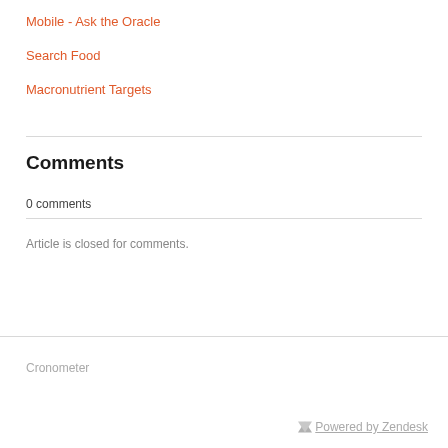Mobile - Ask the Oracle
Search Food
Macronutrient Targets
Comments
0 comments
Article is closed for comments.
Cronometer
Powered by Zendesk